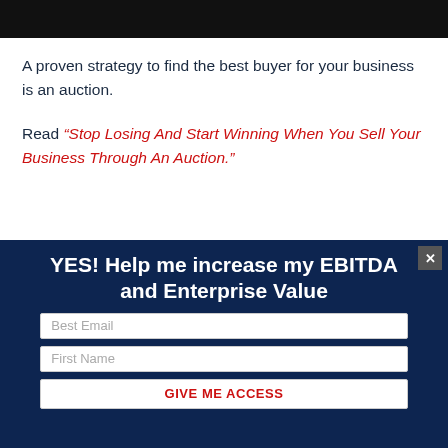[Figure (photo): Dark/black image bar at top of page]
A proven strategy to find the best buyer for your business is an auction.
Read “Stop Losing And Start Winning When You Sell Your Business Through An Auction.”
YES! Help me increase my EBITDA and Enterprise Value